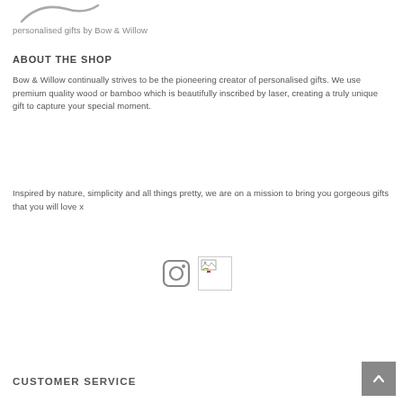[Figure (logo): Partial logo — curved line shape visible at top left]
personalised gifts by Bow & Willow
ABOUT THE SHOP
Bow & Willow continually strives to be the pioneering creator of personalised gifts. We use premium quality wood or bamboo which is beautifully inscribed by laser, creating a truly unique gift to capture your special moment.
Inspired by nature, simplicity and all things pretty, we are on a mission to bring you gorgeous gifts that you will love x
[Figure (illustration): Instagram camera icon (grey outlined camera icon) and a broken/placeholder image icon side by side]
CUSTOMER SERVICE
[Figure (other): Back to top button — dark grey square with upward chevron arrow]